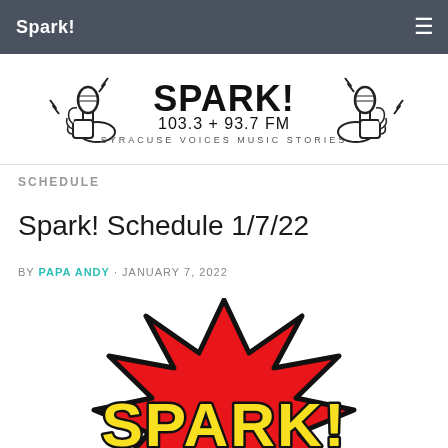Spark!
[Figure (logo): Spark! 103.3 + 93.7 FM Syracuse Voices Music Stories radio logo with microphone illustrations on each side]
SCHEDULE
Spark! Schedule 1/7/22
BY PAPA ANDY · JANUARY 7, 2022
[Figure (illustration): Comic book style explosion graphic with the word SPARK! in yellow letters on a red starburst shape with black outline]